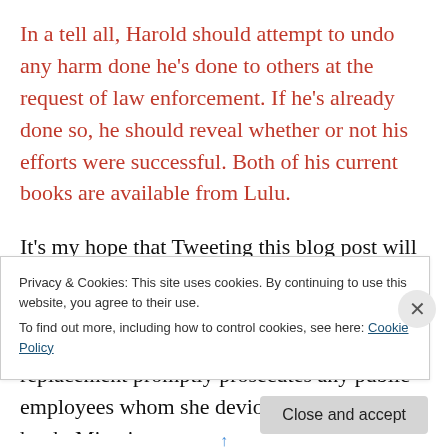In a tell all, Harold should attempt to undo any harm done he's done to others at the request of law enforcement. If he's already done so, he should reveal whether or not his efforts were successful. Both of his current books are available from Lulu.
It's my hope that Tweeting this blog post will end the Russia calls, and prompt Governor DeSantis to replace State Attorney Rundle without further delay, making sure that her replacement promptly prosecutes any public employees whom she deviously let off the hook. Miami-
Privacy & Cookies: This site uses cookies. By continuing to use this website, you agree to their use.
To find out more, including how to control cookies, see here: Cookie Policy
Close and accept